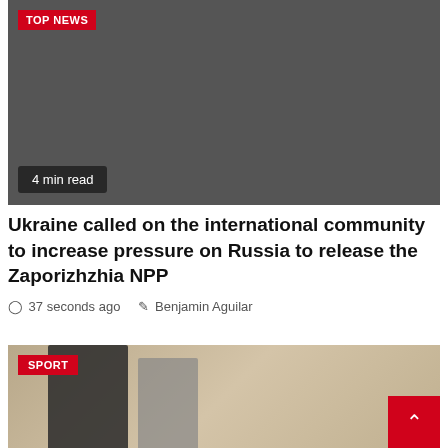[Figure (photo): Dark gray image placeholder for top news article]
TOP NEWS
4 min read
Ukraine called on the international community to increase pressure on Russia to release the Zaporizhzhia NPP
37 seconds ago   Benjamin Aguilar
[Figure (photo): Sport section photo showing two people, one dark-skinned man and one person with glasses, in an ornate room]
SPORT